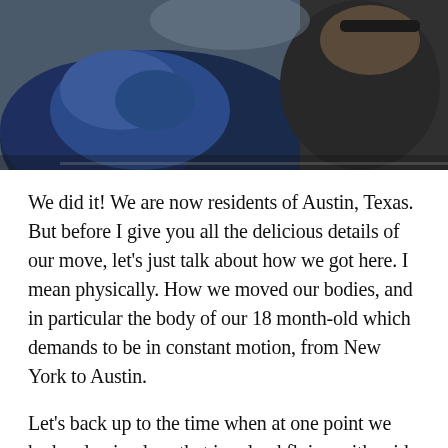[Figure (photo): Close-up photo of people wearing winter jackets, one in a blue puffy coat, partially visible faces, taken outdoors.]
We did it! We are now residents of Austin, Texas. But before I give you all the delicious details of our move, let's just talk about how we got here. I mean physically. How we moved our bodies, and in particular the body of our 18 month-old which demands to be in constant motion, from New York to Austin.
Let's back up to the time when at one point we had a plan in place that involved flying with said toddler and beloved dog all on the same